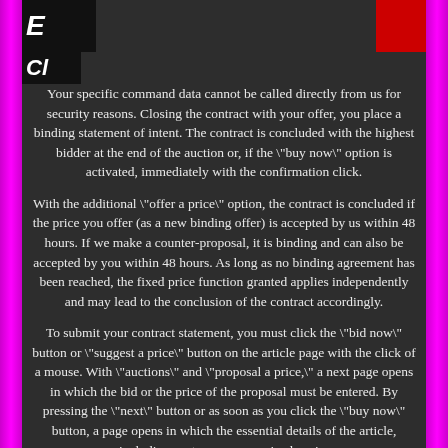Your specific command data cannot be called directly from us for security reasons. Closing the contract with your offer, you place a binding statement of intent. The contract is concluded with the highest bidder at the end of the auction or, if the "buy now" option is activated, immediately with the confirmation click.
With the additional "offer a price" option, the contract is concluded if the price you offer (as a new binding offer) is accepted by us within 48 hours. If we make a counter-proposal, it is binding and can also be accepted by you within 48 hours. As long as no binding agreement has been reached, the fixed price function granted applies independently and may lead to the conclusion of the contract accordingly.
To submit your contract statement, you must click the "bid now" button or "suggest a price" button on the article page with the click of a mouse. With "auctions" and "proposal a price," a next page opens in which the bid or the price of the proposal must be entered. By pressing the "next" button or as soon as you click the "buy now" button, a page opens in which the essential details of the article, including costs, are summarized again.
Up to this point, you can correct your entries or refrain from the contract declaration. A binding statement of intent